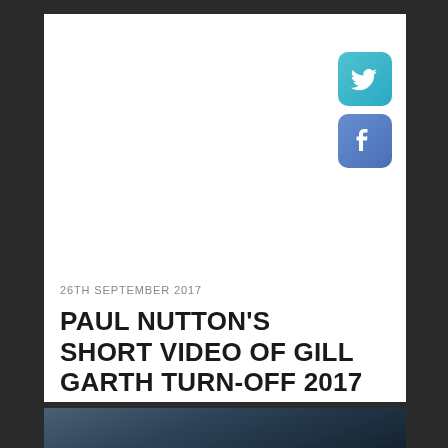[Figure (illustration): Twitter social media icon button - rounded square with blue gradient background and white bird logo]
[Figure (illustration): Facebook social media icon button - rounded square with blue gradient background and white f logo]
26TH SEPTEMBER 2017
PAUL NUTTON'S SHORT VIDEO OF GILL GARTH TURN-OFF 2017
[Figure (photo): Partial view of an outdoor landscape photo, darkened, appearing at the bottom of the page]